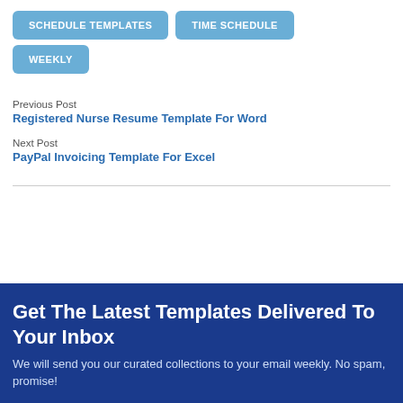SCHEDULE TEMPLATES
TIME SCHEDULE
WEEKLY
Previous Post
Registered Nurse Resume Template For Word
Next Post
PayPal Invoicing Template For Excel
Get The Latest Templates Delivered To Your Inbox
We will send you our curated collections to your email weekly. No spam, promise!